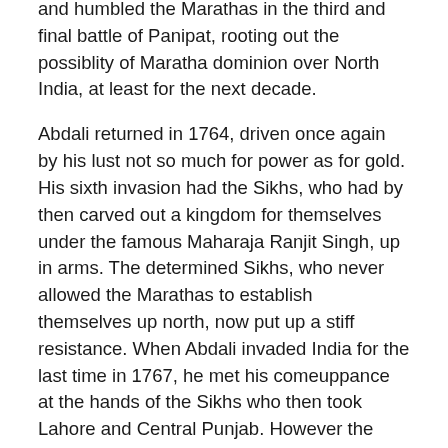and humbled the Marathas in the third and final battle of Panipat, rooting out the possiblity of Maratha dominion over North India, at least for the next decade.
Abdali returned in 1764, driven once again by his lust not so much for power as for gold. His sixth invasion had the Sikhs, who had by then carved out a kingdom for themselves under the famous Maharaja Ranjit Singh, up in arms. The determined Sikhs, who never allowed the Marathas to establish themselves up north, now put up a stiff resistance. When Abdali invaded India for the last time in 1767, he met his comeuppance at the hands of the Sikhs who then took Lahore and Central Punjab. However the areas extending from Peshawar and beyond remained with Abdali.
n The Slow Rise of British